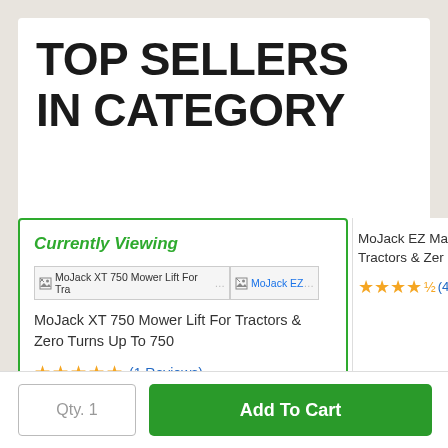TOP SELLERS IN CATEGORY
Currently Viewing
[Figure (screenshot): Product image placeholder for MoJack XT 750 Mower Lift For Tractors with broken image icon]
[Figure (screenshot): Product image placeholder for MoJack EZ with broken image icon]
MoJack XT 750 Mower Lift For Tractors & Zero Turns Up To 750
★★★★★ (1 Reviews)
MoJack EZ Ma... Tractors & Zer...
★★★★½ (4...
Qty. 1
Add To Cart